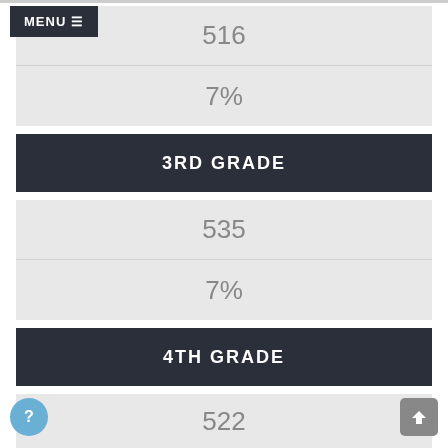MENU
516
7%
3RD GRADE
535
7%
4TH GRADE
522
7%